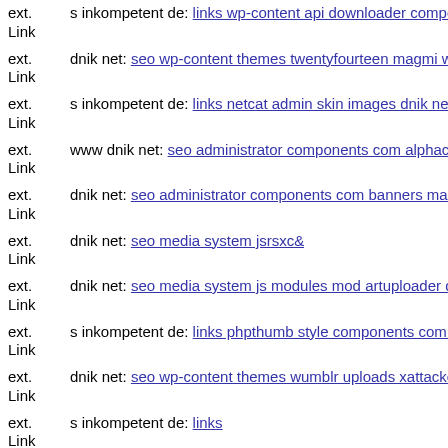ext. Link s inkompetent de: links wp-content api downloader component
ext. Link dnik net: seo wp-content themes twentyfourteen magmi web w
ext. Link s inkompetent de: links netcat admin skin images dnik net
ext. Link www dnik net: seo administrator components com alphacontent
ext. Link dnik net: seo administrator components com banners mail inko
ext. Link dnik net: seo media system jsrsxc&
ext. Link dnik net: seo media system js modules mod artuploader dnik ne
ext. Link s inkompetent de: links phpthumb style components com flexic
ext. Link dnik net: seo wp-content themes wumblr uploads xattacker php
ext. Link s inkompetent de: links
ext. Link s inkompetent de: links phpthumb app etc
ext. Link s inkompetent de: links wp-content plugins themorningafter toc